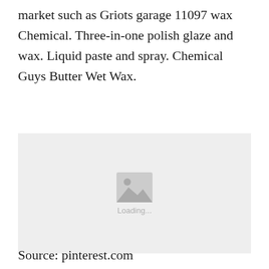market such as Griots garage 11097 wax Chemical. Three-in-one polish glaze and wax. Liquid paste and spray. Chemical Guys Butter Wet Wax.
[Figure (photo): Image loading placeholder with a grey background, image icon, and 'Loading...' text]
Source: pinterest.com